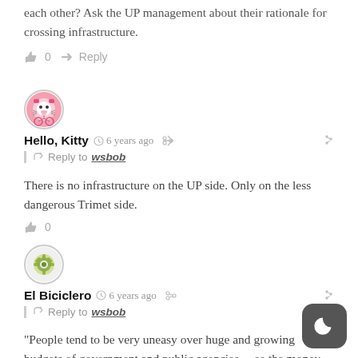each other? Ask the UP management about their rationale for crossing infrastructure.
👍 0  → Reply
[Figure (illustration): Hello Kitty avatar icon in a circle]
Hello, Kitty  🕐 6 years ago  Share  Link
Reply to wsbob
There is no infrastructure on the UP side. Only on the less dangerous Trimet side.
👍 0
[Figure (illustration): El Biciclero avatar icon in a circle]
El Biciclero  🕐 6 years ago  Share  Link
Reply to wsbob
"People tend to be very uneasy over huge and growing budgets of government and public agencies... so the money, even on